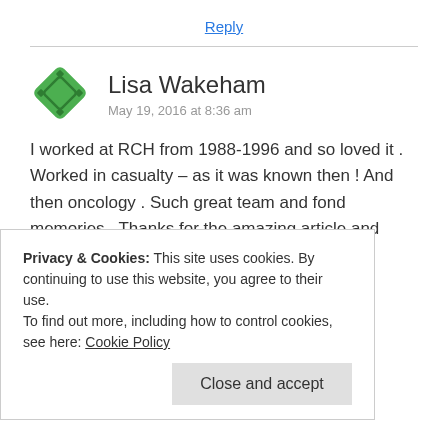Reply
Lisa Wakeham
May 19, 2016 at 8:36 am
I worked at RCH from 1988-1996 and so loved it . Worked in casualty – as it was known then ! And then oncology . Such great team and fond memories . Thanks for the amazing article and photos.
Like
Privacy & Cookies: This site uses cookies. By continuing to use this website, you agree to their use.
To find out more, including how to control cookies, see here: Cookie Policy
Close and accept